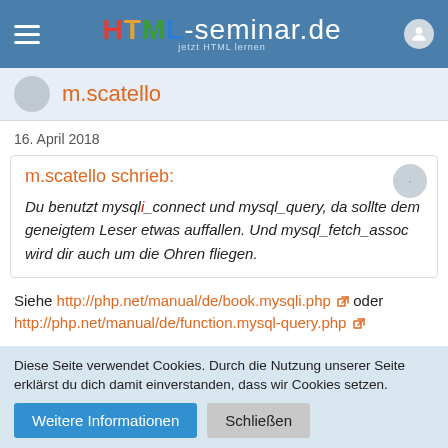HTML-seminar.de – jetzt HTML lernen
m.scatello
16. April 2018
m.scatello schrieb:
Du benutzt mysqli_connect und mysql_query, da sollte dem geneigtem Leser etwas auffallen. Und mysql_fetch_assoc wird dir auch um die Ohren fliegen.
Siehe http://php.net/manual/de/book.mysqli.php oder http://php.net/manual/de/function.mysql-query.php
Diese Seite verwendet Cookies. Durch die Nutzung unserer Seite erklärst du dich damit einverstanden, dass wir Cookies setzen.